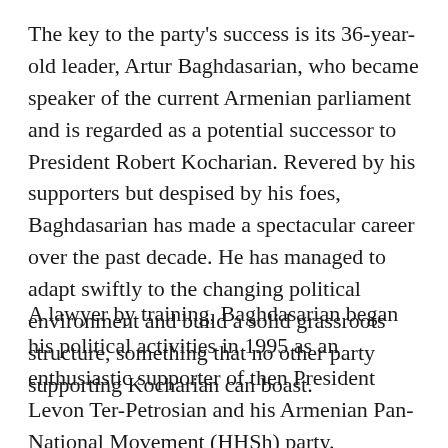The key to the party's success is its 36-year-old leader, Artur Baghdasarian, who became speaker of the current Armenian parliament and is regarded as a potential successor to President Robert Kocharian. Revered by his supporters but despised by his foes, Baghdasarian has made a spectacular career over the past decade. He has managed to adapt swiftly to the changing political environment and build a solid grassroots structure, something that no other party supporting Kocharian can boast.
A lawyer by training, Baghdasarian began his political activities in 1995 as an enthusiastic supporter of then President Levon Ter-Petrosian and his Armenian Pan-National Movement (HHSh) party. Baghdasarian made his name as the head of a lawyer association and the deputy for TV...